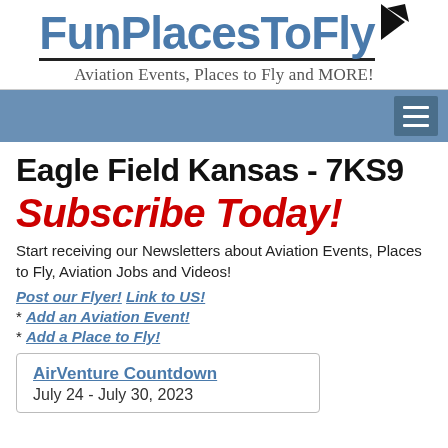FunPlacesToFly
Aviation Events, Places to Fly and MORE!
Eagle Field Kansas - 7KS9
Subscribe Today!
Start receiving our Newsletters about Aviation Events, Places to Fly, Aviation Jobs and Videos!
Post our Flyer! Link to US!
* Add an Aviation Event!
* Add a Place to Fly!
AirVenture Countdown
July 24 - July 30, 2023